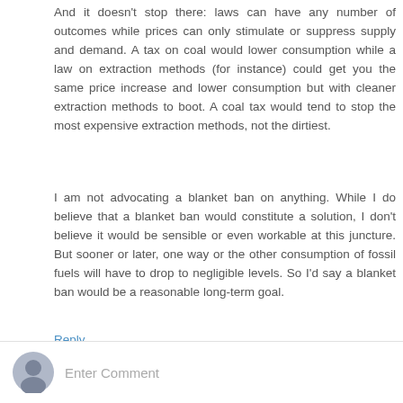And it doesn't stop there: laws can have any number of outcomes while prices can only stimulate or suppress supply and demand. A tax on coal would lower consumption while a law on extraction methods (for instance) could get you the same price increase and lower consumption but with cleaner extraction methods to boot. A coal tax would tend to stop the most expensive extraction methods, not the dirtiest.
I am not advocating a blanket ban on anything. While I do believe that a blanket ban would constitute a solution, I don't believe it would be sensible or even workable at this juncture. But sooner or later, one way or the other consumption of fossil fuels will have to drop to negligible levels. So I'd say a blanket ban would be a reasonable long-term goal.
Reply
Enter Comment